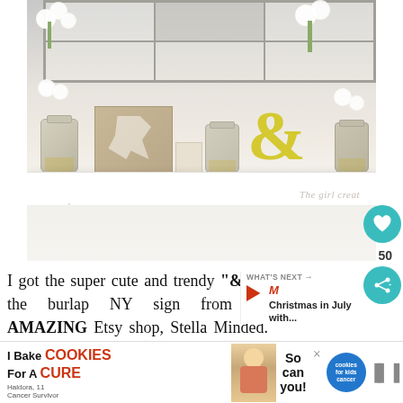[Figure (photo): A white decorative shelf on a wall with mason jars filled with white roses, a burlap NY state sign, a yellow ampersand symbol, and a vintage window frame backdrop. Watermark reads 'The girl creat'.]
I got the super cute and trendy "&" the burlap NY sign from an AMAZING Etsy shop, Stella Minded. Charm, and I love this si...
[Figure (infographic): WHAT'S NEXT arrow label with M logo icon and text: Christmas in July with...]
[Figure (infographic): Ad banner: I Bake COOKIES For A CURE - Haldora, 11 Cancer Survivor - So can you! - cookies for kids cancer logo - mute icon]